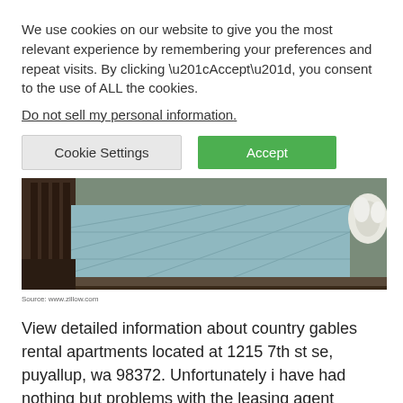We use cookies on our website to give you the most relevant experience by remembering your preferences and repeat visits. By clicking “Accept”, you consent to the use of ALL the cookies.
Do not sell my personal information.
Cookie Settings    Accept
[Figure (photo): Photo of a bed with light blue bedding and a headboard, typical apartment bedroom setup]
Source: www.zillow.com
View detailed information about country gables rental apartments located at 1215 7th st se, puyallup, wa 98372. Unfortunately i have had nothing but problems with the leasing agent morgan.